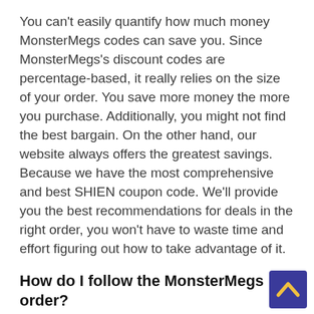You can't easily quantify how much money MonsterMegs codes can save you. Since MonsterMegs's discount codes are percentage-based, it really relies on the size of your order. You save more money the more you purchase. Additionally, you might not find the best bargain. On the other hand, our website always offers the greatest savings. Because we have the most comprehensive and best SHIEN coupon code. We'll provide you the best recommendations for deals in the right order, you won't have to waste time and effort figuring out how to take advantage of it.
How do I follow the MonsterMegs order?
Log in to "My Account" at MonsterMegs. com and select "My Orders" to view a summary of your order history and its status. Then, to view additional information, click "View Details. "Thirdly, select "Track" to view the most recent delivery history of your package and to find out its current